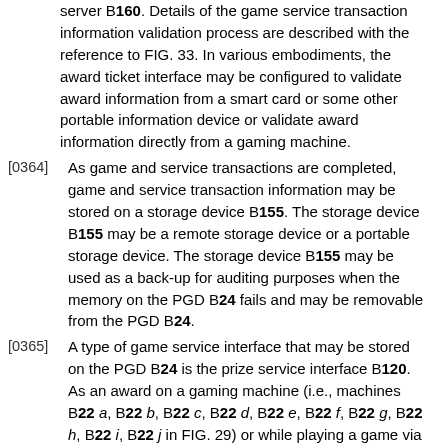server B160. Details of the game service transaction information validation process are described with the reference to FIG. 33. In various embodiments, the award ticket interface may be configured to validate award information from a smart card or some other portable information device or validate award information directly from a gaming machine.
[0364] As game and service transactions are completed, game and service transaction information may be stored on a storage device B155. The storage device B155 may be a remote storage device or a portable storage device. The storage device B155 may be used as a back-up for auditing purposes when the memory on the PGD B24 fails and may be removable from the PGD B24.
[0365] A type of game service interface that may be stored on the PGD B24 is the prize service interface B120. As an award on a gaming machine (i.e., machines B22 a, B22 b, B22 c, B22 d, B22 e, B22 f, B22 g, B22 h, B22 i, B22 j in FIG. 29) or while playing a game via the PGD B24, a